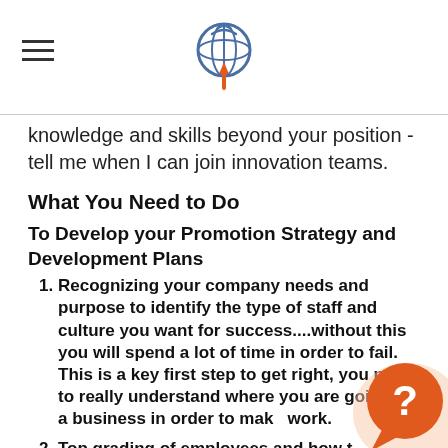[Logo: globe with signal icon]
knowledge and skills beyond your position - tell me when I can join innovation teams.
What You Need to Do
To Develop your Promotion Strategy and Development Plans
Recognizing your company needs and purpose to identify the type of staff and culture you want for success....without this you will spend a lot of time in order to fail. This is a key first step to get right, you need to really understand where you are going as a business in order to make work.
Top grading of employees and how to achieve it – note more than 1 manager